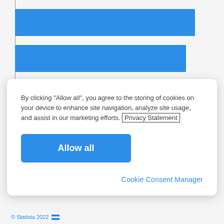[Figure (bar-chart): Partial horizontal bar chart visible behind cookie consent modal, showing two blue bars]
By clicking “Allow all”, you agree to the storing of cookies on your device to enhance site navigation, analyze site usage, and assist in our marketing efforts. Privacy Statement
Allow all
Cookie Consent Manager
© Statista 2022